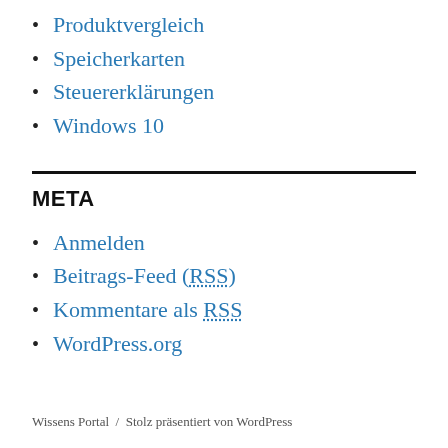Produktvergleich
Speicherkarten
Steuererklärungen
Windows 10
META
Anmelden
Beitrags-Feed (RSS)
Kommentare als RSS
WordPress.org
Wissens Portal / Stolz präsentiert von WordPress